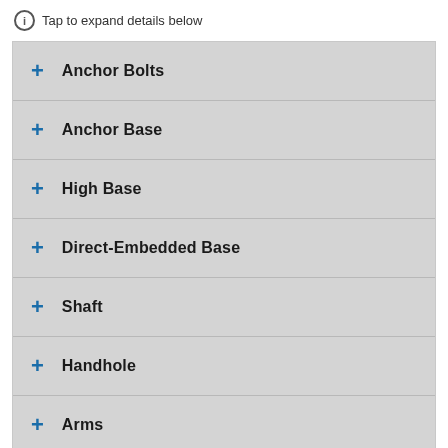ℹ Tap to expand details below
+ Anchor Bolts
+ Anchor Base
+ High Base
+ Direct-Embedded Base
+ Shaft
+ Handhole
+ Arms